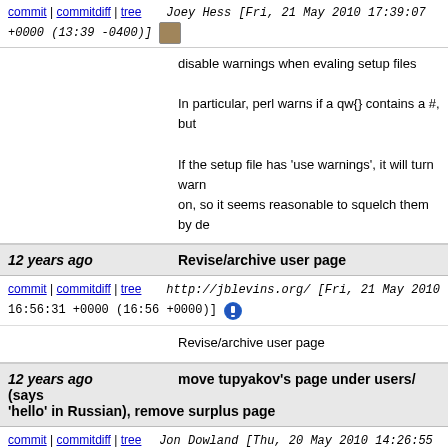commit | commitdiff | tree   Joey Hess [Fri, 21 May 2010 17:39:07 +0000 (13:39 -0400)]
disable warnings when evaling setup files

In particular, perl warns if a qw{} contains a #, but

If the setup file has 'use warnings', it will turn warnings on, so it seems reasonable to squelch them by de
12 years ago   Revise/archive user page
commit | commitdiff | tree   http://jblevins.org/ [Fri, 21 May 2010 16:56:31 +0000 (16:56 +0000)]
Revise/archive user page
12 years ago   move tupyakov's page under users/ (says 'hello' in Russian), remove surplus page
commit | commitdiff | tree   Jon Dowland [Thu, 20 May 2010 14:26:55 +0000 (15:26 +0100)]
move tupyakov's page under users/ (says 'hello' in
12 years ago   (no commit message)
commit | commitdiff | tree   tupyakov_vladimr [Thu, 20 May 2010